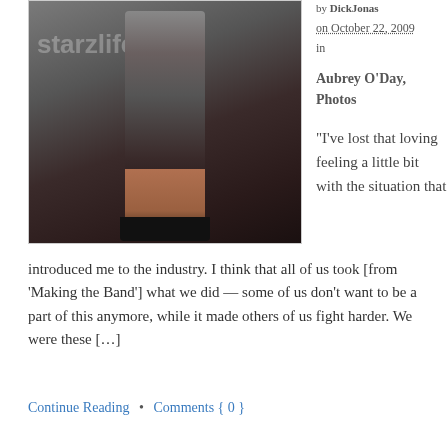[Figure (photo): Photo of a woman in a dark dress and heels, with starzlife.com watermark overlay]
by DickJonas on October 22, 2009 in Aubrey O'Day, Photos
“I’ve lost that loving feeling a little bit with the situation that introduced me to the industry. I think that all of us took [from ‘Making the Band’] what we did — some of us don’t want to be a part of this anymore, while it made others of us fight harder. We were these […]
Continue Reading  •  Comments { 0 }